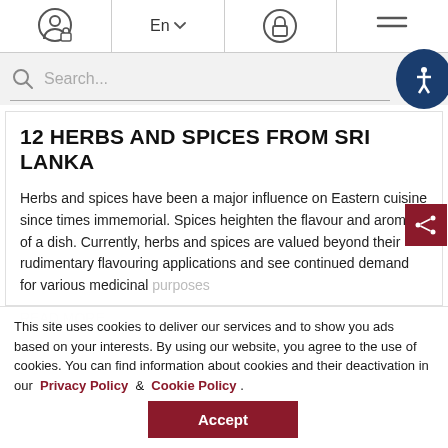En | [user icon] | [lock icon] | [menu icon]
Search...
12 HERBS AND SPICES FROM SRI LANKA
Herbs and spices have been a major influence on Eastern cuisine since times immemorial. Spices heighten the flavour and aroma of a dish. Currently, herbs and spices are valued beyond their rudimentary flavouring applications and see continued demand for various medicinal purposes
READ MORE
This site uses cookies to deliver our services and to show you ads based on your interests. By using our website, you agree to the use of cookies. You can find information about cookies and their deactivation in our Privacy Policy & Cookie Policy .
Accept